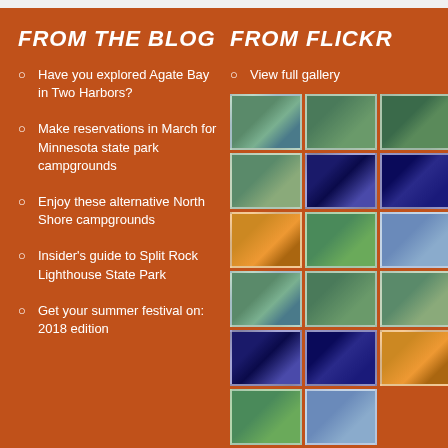FROM THE BLOG
Have you explored Agate Bay in Two Harbors?
Make reservations in March for Minnesota state park campgrounds
Enjoy these alternative North Shore campgrounds
Insider's guide to Split Rock Lighthouse State Park
Get your summer festival on: 2018 edition
FROM FLICKR
View full gallery
[Figure (photo): Grid of nature/landscape photos from Flickr including forest, lake, and light show images]